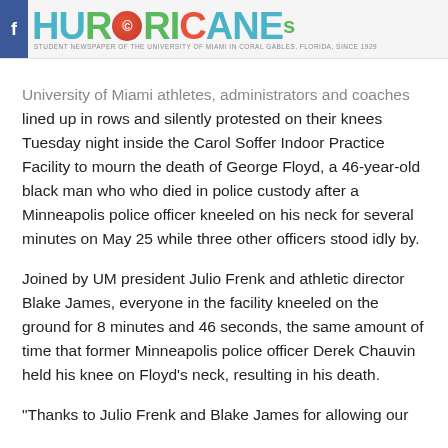[Figure (logo): The Hurricane student newspaper logo of the University of Miami in Coral Gables, Florida, Since 1929]
University of Miami athletes, administrators and coaches lined up in rows and silently protested on their knees Tuesday night inside the Carol Soffer Indoor Practice Facility to mourn the death of George Floyd, a 46-year-old black man who who died in police custody after a Minneapolis police officer kneeled on his neck for several minutes on May 25 while three other officers stood idly by.
Joined by UM president Julio Frenk and athletic director Blake James, everyone in the facility kneeled on the ground for 8 minutes and 46 seconds, the same amount of time that former Minneapolis police officer Derek Chauvin held his knee on Floyd's neck, resulting in his death.
"Thanks to Julio Frenk and Blake James for allowing our